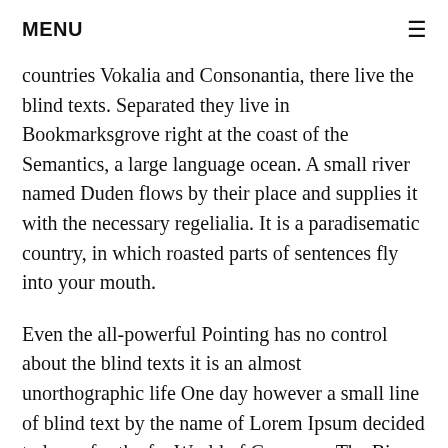MENU ≡
countries Vokalia and Consonantia, there live the blind texts. Separated they live in Bookmarksgrove right at the coast of the Semantics, a large language ocean. A small river named Duden flows by their place and supplies it with the necessary regelialia. It is a paradisematic country, in which roasted parts of sentences fly into your mouth.
Even the all-powerful Pointing has no control about the blind texts it is an almost unorthographic life One day however a small line of blind text by the name of Lorem Ipsum decided to leave for the far World of Grammar. The Big Oxmox advised her not to do so, because there were thousands of bad Commas, wild Question Marks and devious Semikoli, but the Little Blind Text didn't listen.
She packed her seven versalia, put her initial into the